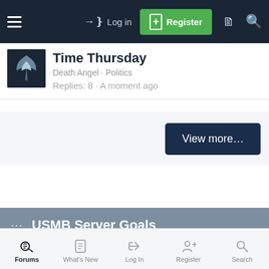Log in  Register
Time Thursday
Death Angel · Politics
Replies: 8 · A moment ago
View more...
··· USMB Server Goals
[Figure (other): Progress bar showing 72.9% completion of server goals]
Total amount:  $255.00
Forums  What's New  Log In  Register  Search